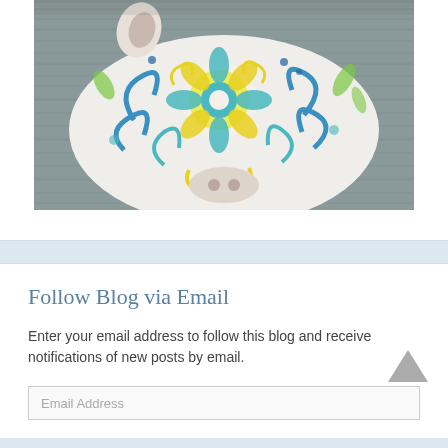[Figure (photo): A colorful ceramic or painted pig figurine with blue, teal, yellow-green, and white floral/paisley patterns, photographed against a grey wooden background.]
Follow Blog via Email
Enter your email address to follow this blog and receive notifications of new posts by email.
Email Address